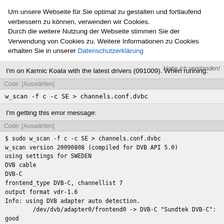Um unsere Webseite für Sie optimal zu gestalten und fortlaufend verbessern zu können, verwenden wir Cookies. Durch die weitere Nutzung der Webseite stimmen Sie der Verwendung von Cookies zu. Weitere Informationen zu Cookies erhalten Sie in unserer Datenschutzerklärung
I'm on Karmic Koala with the latest drivers (091009). When running:
Code: [Auswählen]
w_scan -f c -c SE > channels.conf.dvbc
I'm getting this error message:
Code: [Auswählen]
$ sudo w_scan -f c -c SE > channels.conf.dvbc
w_scan version 20090808 (compiled for DVB API 5.0)
using settings for SWEDEN
DVB cable
DVB-C
frontend_type DVB-C, channellist 7
output format vdr-1.6
Info: using DVB adapter auto detection.
        /dev/dvb/adapter0/frontend0 -> DVB-C "Sundtek DVB-C": good
Using DVB-C frontend (adapter /dev/dvb/adapter0/frontend0)
- . - .  Getting frontend capabilities- . - .